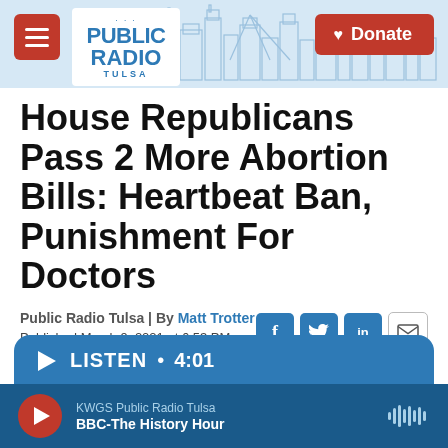Public Radio Tulsa — Donate
House Republicans Pass 2 More Abortion Bills: Heartbeat Ban, Punishment For Doctors
Public Radio Tulsa | By Matt Trotter
Published March 9, 2021 at 6:53 PM CST
[Figure (other): Social share buttons: Facebook, Twitter, LinkedIn, Email]
[Figure (other): Audio player: LISTEN • 4:01, KWGS Public Radio Tulsa, BBC-The History Hour]